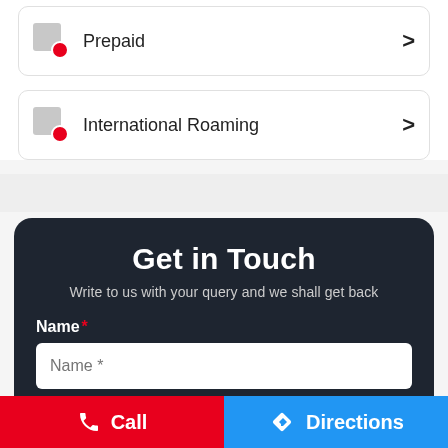Prepaid
International Roaming
Get in Touch
Write to us with your query and we shall get back
Name *
Name *
Phone No. *
Call  Directions